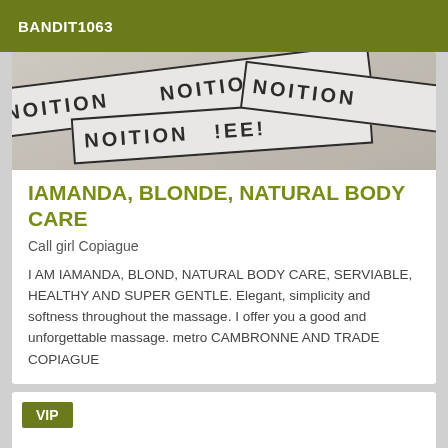BANDIT1063
[Figure (photo): Photo of white police/crime scene tape with black text, overlapping strips, slightly blurred]
IAMANDA, BLONDE, NATURAL BODY CARE
Call girl Copiague
I AM IAMANDA, BLOND, NATURAL BODY CARE, SERVIABLE, HEALTHY AND SUPER GENTLE. Elegant, simplicity and softness throughout the massage. I offer you a good and unforgettable massage. metro CAMBRONNE AND TRADE COPIAGUE
VIP